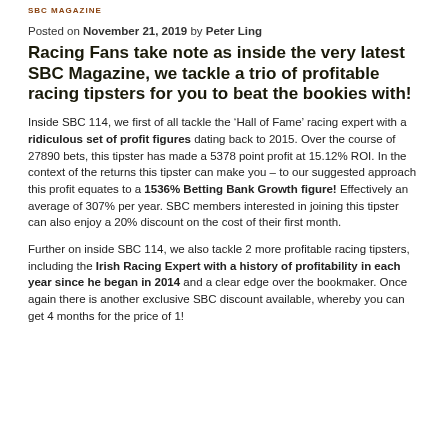SBC MAGAZINE
Posted on November 21, 2019 by Peter Ling
Racing Fans take note as inside the very latest SBC Magazine, we tackle a trio of profitable racing tipsters for you to beat the bookies with!
Inside SBC 114, we first of all tackle the ‘Hall of Fame’ racing expert with a ridiculous set of profit figures dating back to 2015. Over the course of 27890 bets, this tipster has made a 5378 point profit at 15.12% ROI. In the context of the returns this tipster can make you – to our suggested approach this profit equates to a 1536% Betting Bank Growth figure! Effectively an average of 307% per year. SBC members interested in joining this tipster can also enjoy a 20% discount on the cost of their first month.
Further on inside SBC 114, we also tackle 2 more profitable racing tipsters, including the Irish Racing Expert with a history of profitability in each year since he began in 2014 and a clear edge over the bookmaker. Once again there is another exclusive SBC discount available, whereby you can get 4 months for the price of 1!